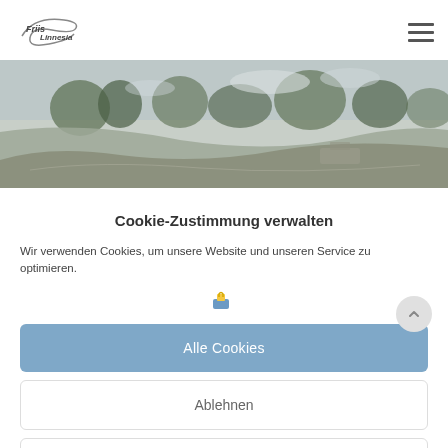[Figure (logo): Frils Linnesia company logo — stylized italic text with a swoosh/ribbon]
[Figure (photo): Wide panoramic photo of a quarry or excavation site with trees in background and machinery/earthworks visible]
Cookie-Zustimmung verwalten
Wir verwenden Cookies, um unsere Website und unseren Service zu optimieren.
[Figure (illustration): Small yellow and blue lock/cookie icon]
Alle Cookies
Ablehnen
Einstellungen anzeigen